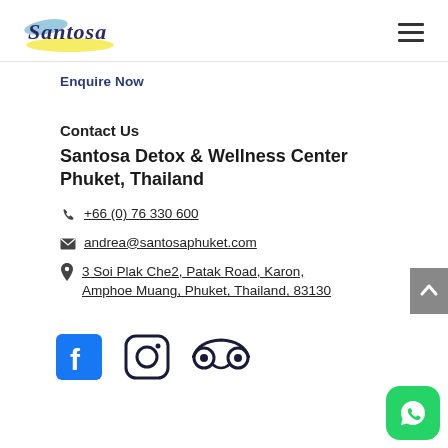Santosa (logo) | hamburger menu
Enquire Now
Contact Us
Santosa Detox & Wellness Center Phuket, Thailand
+66 (0) 76 330 600
andrea@santosaphuket.com
3 Soi Plak Che2, Patak Road, Karon, Amphoe Muang, Phuket, Thailand, 83130
[Figure (logo): Facebook, Instagram, and TripAdvisor social media icons]
[Figure (illustration): WhatsApp floating button (green rounded square with white WhatsApp logo)]